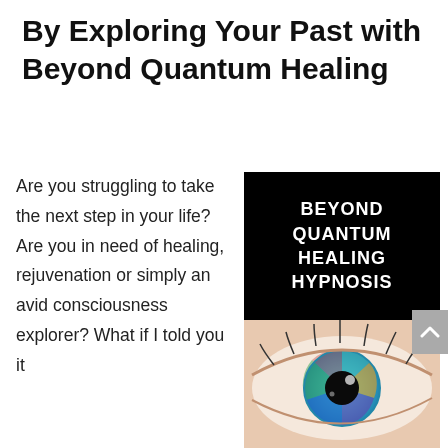By Exploring Your Past with Beyond Quantum Healing
Are you struggling to take the next step in your life? Are you in need of healing, rejuvenation or simply an avid consciousness explorer? What if I told you it
[Figure (photo): Book cover of 'Beyond Quantum Healing Hypnosis' with white text on black background (top half) and a close-up of a colorful human eye with blue/teal iris (bottom half).]